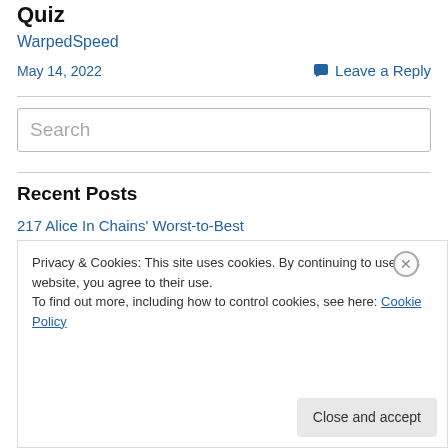Quiz
WarpedSpeed
May 14, 2022
Leave a Reply
[Figure (other): Search input box with placeholder text 'Search']
Recent Posts
217 Alice In Chains' Worst-to-Best
Privacy & Cookies: This site uses cookies. By continuing to use this website, you agree to their use.
To find out more, including how to control cookies, see here: Cookie Policy
Close and accept